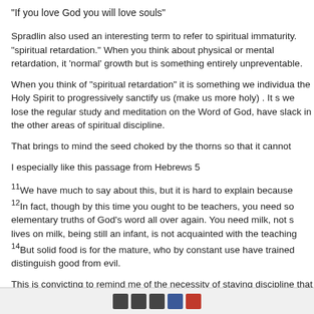"If you love God you will love souls"
Spradlin also used an interesting term to refer to spiritual immaturity. "spiritual retardation." When you think about physical or mental retardation, it 'normal' growth but is something entirely unpreventable.
When you think of "spiritual retardation" it is something we individua the Holy Spirit to progressively sanctify us (make us more holy) . It s we lose the regular study and meditation on the Word of God, have slack in the other areas of spiritual discipline.
That brings to mind the seed choked by the thorns so that it cannot
I especially like this passage from Hebrews 5
11We have much to say about this, but it is hard to explain because 12In fact, though by this time you ought to be teachers, you need so elementary truths of God's word all over again. You need milk, not s lives on milk, being still an infant, is not acquainted with the teaching 14But solid food is for the mature, who by constant use have trained distinguish good from evil.
This is convicting to remind me of the necessity of staying discipline that the Spirit can continue to work in and through me in His power!
Social sharing icons